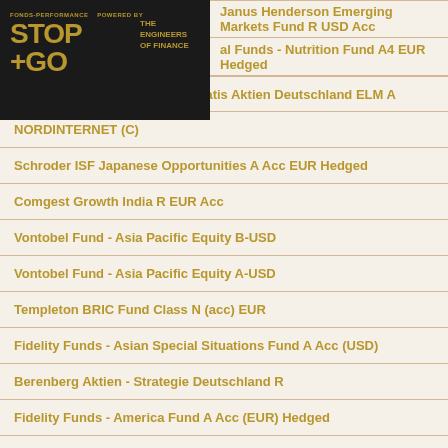[Figure (logo): Stop+Go Fonds-Performance logo with black background and gold text, 'THE ENGINEERS OF FINANCE' tagline]
Janus Henderson Emerging Markets Fund R USD Acc
al Funds - Nutrition Fund A4 EUR Hedged
ACATIS Champions Select - Acatis Aktien Deutschland ELM A
NORDINTERNET (C)
Schroder ISF Japanese Opportunities A Acc EUR Hedged
Comgest Growth India R EUR Acc
Vontobel Fund - Asia Pacific Equity B-USD
Vontobel Fund - Asia Pacific Equity A-USD
Templeton BRIC Fund Class N (acc) EUR
Fidelity Funds - Asian Special Situations Fund A Acc (USD)
Berenberg Aktien - Strategie Deutschland R
Fidelity Funds - America Fund A Acc (EUR) Hedged
GS&P Fonds Schwellenländer G
Swisscanto (LU) Equity Fund Top Dividend Europe AA